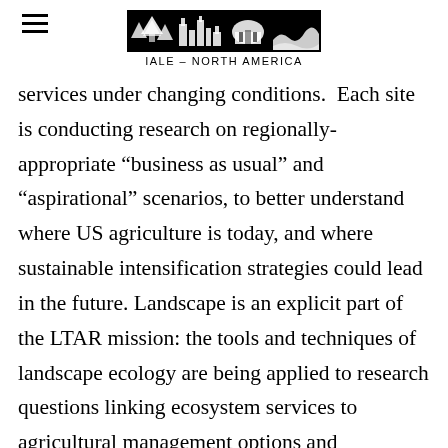IALE - NORTH AMERICA
services under changing conditions.  Each site is conducting research on regionally-appropriate “business as usual” and “aspirational” scenarios, to better understand where US agriculture is today, and where sustainable intensification strategies could lead in the future. Landscape is an explicit part of the LTAR mission: the tools and techniques of landscape ecology are being applied to research questions linking ecosystem services to agricultural management options and opportunities at both regional and national scales. Integrated long-term agricultural research is critical to addressing the challenges created by the century ahead. This